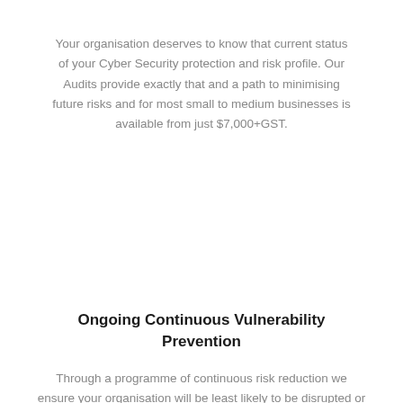Your organisation deserves to know that current status of your Cyber Security protection and risk profile. Our Audits provide exactly that and a path to minimising future risks and for most small to medium businesses is available from just $7,000+GST.
Ongoing Continuous Vulnerability Prevention
Through a programme of continuous risk reduction we ensure your organisation will be least likely to be disrupted or destroyed by a critical Cyber Incident.